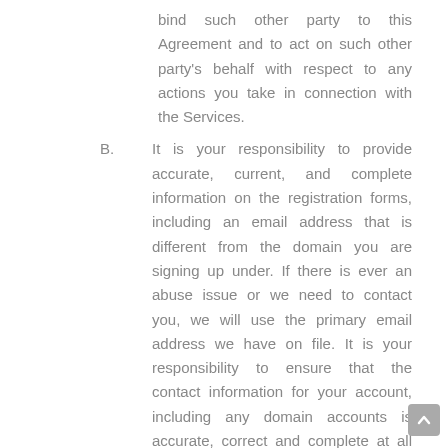bind such other party to this Agreement and to act on such other party's behalf with respect to any actions you take in connection with the Services.
B. It is your responsibility to provide accurate, current, and complete information on the registration forms, including an email address that is different from the domain you are signing up under. If there is ever an abuse issue or we need to contact you, we will use the primary email address we have on file. It is your responsibility to ensure that the contact information for your account, including any domain accounts is accurate, correct and complete at all times. TalcoSoft is not responsible for any lapse in the Services, including without limitation, any lapsed domain registrations due to outdated contact